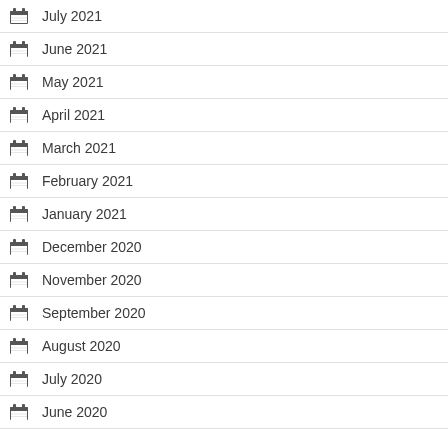July 2021
June 2021
May 2021
April 2021
March 2021
February 2021
January 2021
December 2020
November 2020
September 2020
August 2020
July 2020
June 2020